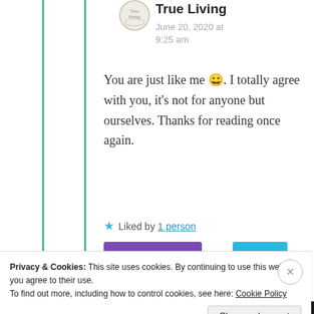True Living
June 20, 2020 at 9:25 am
You are just like me 😀. I totally agree with you, it's not for anyone but ourselves. Thanks for reading once again.
Liked by 1 person
Privacy & Cookies: This site uses cookies. By continuing to use this website, you agree to their use.
To find out more, including how to control cookies, see here: Cookie Policy
Close and accept